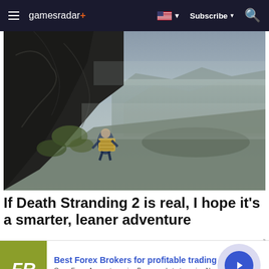gamesradar+  Subscribe
[Figure (screenshot): Death Stranding gameplay screenshot showing a character climbing a steep rocky cliff face with a heavy cargo load strapped to their back, overlooking a dramatic misty mountain landscape and valley below.]
If Death Stranding 2 is real, I hope it's a smarter, leaner adventure
[Figure (other): Advertisement banner for 'Best Forex Brokers for profitable trading' from forex-ratings.com, featuring the FR logo in olive/green, with a blue circular arrow button on the right.]